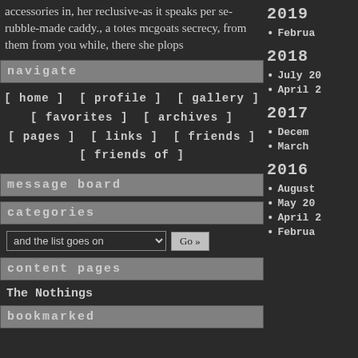accessories in, her reclusive-as it speaks per se- rubble-made caddy., a totes mcgoats secrecy, from them from you while, there she plops
navigate
[ home ]  [ profile ]  [ gallery ]
[ favorites ]  [ archives ]
[ pages ]  [ links ]  [ friends ]
[ friends of ]
message board
categories
and the list goes on  Go »
content pages
The Nothings
bookmarked
2019
Februa
2018
July 20
April 2
2017
Decem
March
2016
August
May 20
April 2
Februa